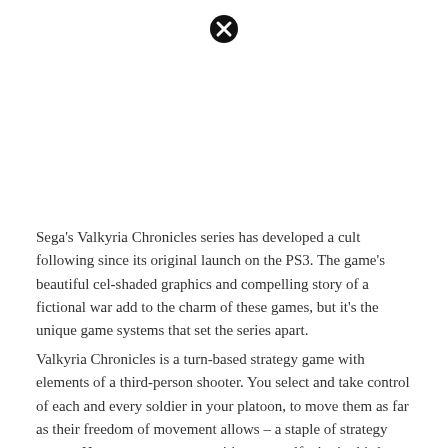[Figure (illustration): A circular close/cancel button icon — black circle with a white X inside — positioned near the top center of the page.]
Sega's Valkyria Chronicles series has developed a cult following since its original launch on the PS3. The game's beautiful cel-shaded graphics and compelling story of a fictional war add to the charm of these games, but it's the unique game systems that set the series apart.
Valkyria Chronicles is a turn-based strategy game with elements of a third-person shooter. You select and take control of each and every soldier in your platoon, to move them as far as their freedom of movement allows – a staple of strategy games. However, once you position yourself, aim in third person and command your soldier to fire at nearby enemies and hazards. The depth